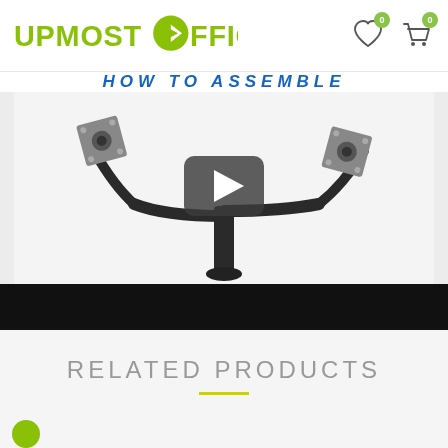Upmost Office — website header with logo and cart/wishlist icons
[Figure (screenshot): Partial navigation bar text in blue italic uppercase letters, partially cropped]
[Figure (photo): Dual monitor arm mount product displayed on a white background with a YouTube play button overlay indicating an embedded video. Below the product image is a black letterbox bar.]
RELATED PRODUCTS